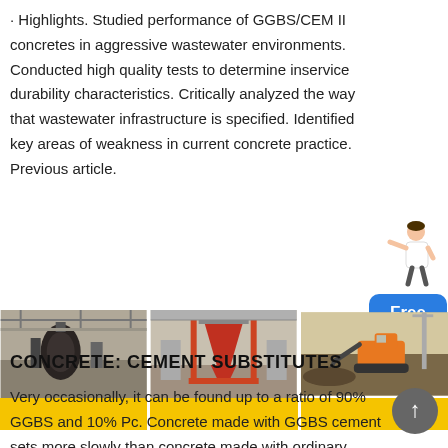· Highlights. Studied performance of GGBS/CEM II concretes in aggressive wastewater environments. Conducted high quality tests to determine inservice durability characteristics. Critically analyzed the way that wastewater infrastructure is specified. Identified key areas of weakness in current concrete practice. Previous article.
[Figure (photo): Three industrial/construction site photos side by side: left shows heavy machinery in a factory, center shows cone crushers in an industrial facility, right shows an excavator working with soil/gravel outdoors. Each photo has a yellow bar at the bottom.]
CONCRETE: CEMENT SUBSTITUTES
Very occasionally, it can be found up to a ratio of 90% GGBS and 10% Pc. Concrete made with GGBS cement sets more slowly than concrete made with ordinary Portland cement, depending on the amount of GGBS in the cement mix, but also continues to gain